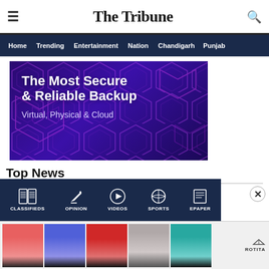The Tribune
Home  Trending  Entertainment  Nation  Chandigarh  Punjab
[Figure (screenshot): Advertisement banner: purple/dark-blue background with hexagonal network pattern. Text reads 'The Most Secure & Reliable Backup' in large white bold text, and 'Virtual, Physical & Cloud' in lighter white text below.]
Top News
Lakhkar terrorist captured, get 5 men given Rs
[Figure (screenshot): Bottom navigation bar with icons for: Classifieds (newspaper icon), Opinion (pen icon), Videos (play button), Sports (burger icon), Epaper (newspaper icon)]
[Figure (screenshot): Bottom ad strip showing 5 clothing product images (swimwear/tops) with Rotita branding and a dismiss X button]